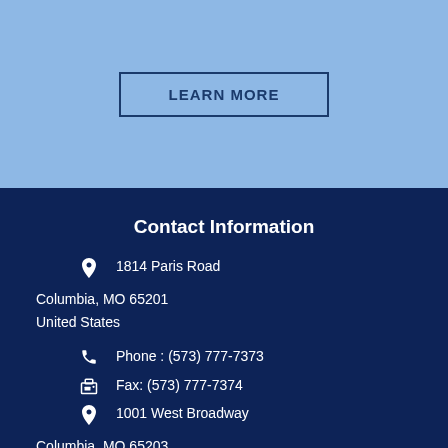[Figure (other): LEARN MORE button with dark blue border on light blue background]
Contact Information
📍 1814 Paris Road
Columbia, MO 65201
United States
📞 Phone : (573) 777-7373
🖨 Fax: (573) 777-7374
📍 1001 West Broadway
Columbia, MO 65203
United States
📞 Phone : (573) 777-7333
🖨 Fax: (573) 777-7334